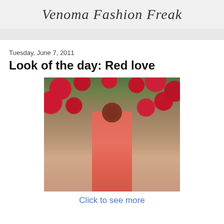Venoma Fashion Freak
Tuesday, June 7, 2011
Look of the day: Red love
[Figure (photo): A young woman with red hair wearing a red dress, standing in front of a brick wall covered in red roses.]
Click to see more